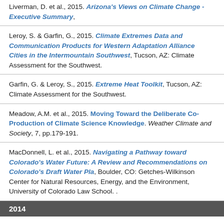Liverman, D. et al., 2015. Arizona's Views on Climate Change - Executive Summary,
Leroy, S. & Garfin, G., 2015. Climate Extremes Data and Communication Products for Western Adaptation Alliance Cities in the Intermountain Southwest, Tucson, AZ: Climate Assessment for the Southwest.
Garfin, G. & Leroy, S., 2015. Extreme Heat Toolkit, Tucson, AZ: Climate Assessment for the Southwest.
Meadow, A.M. et al., 2015. Moving Toward the Deliberate Co-Production of Climate Science Knowledge. Weather Climate and Society, 7, pp.179-191.
MacDonnell, L. et al., 2015. Navigating a Pathway toward Colorado's Water Future: A Review and Recommendations on Colorado's Draft Water Pla, Boulder, CO: Getches-Wilkinson Center for Natural Resources, Energy, and the Environment, University of Colorado Law School. .
2014